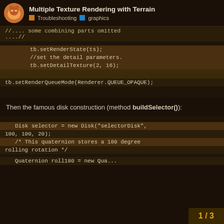Multiple Texture Rendering with Terrain | Troubleshooting | graphics
[Figure (screenshot): Code block showing: //.... some combining parts omitted ...// and highlighted lines: tb.setRenderState(ts); //set the detail parameters. tb.setDetailTexture(2, 16); then tb.setRenderQueueMode(Renderer.QUEUE_OPAQUE);]
Then the famous disk construction (method buildSelector()):
[Figure (screenshot): Code block showing: Disk selector = new Disk("selectorDisk", 100, 100, 20); /* This quaternion stores a 180 degree rolling rotation */ Quaternion roll180 = new Qua...]
1 / 3